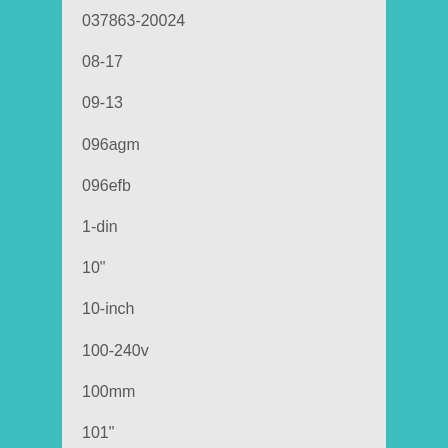037863-20024
08-17
09-13
096agm
096efb
1-din
10"
10-inch
100-240v
100mm
101"
101"2
101in